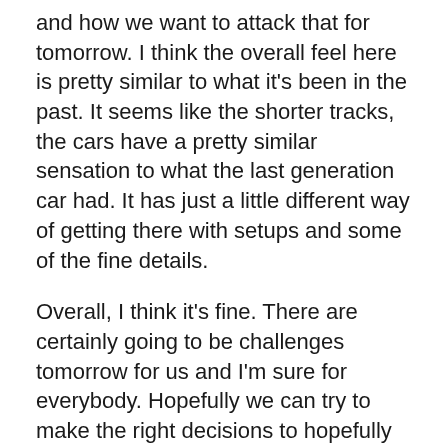and how we want to attack that for tomorrow. I think the overall feel here is pretty similar to what it's been in the past. It seems like the shorter tracks, the cars have a pretty similar sensation to what the last generation car had. It has just a little different way of getting there with setups and some of the fine details.
Overall, I think it's fine. There are certainly going to be challenges tomorrow for us and I'm sure for everybody. Hopefully we can try to make the right decisions to hopefully have them impact us the least. We'll see."
A LOT OF GUYS COME IN HERE AND TALK ABOUT HOW SETTING UP THE CAR BEFORE YOU GET HERE IS KIND OF LIKE A STAB IN THE DARK. DO YOU GUYS FEEL LIKE THAT?
“Yeah, it kind of is in a lot of ways. You don’t have a ton of time to tune on it. It goes really quick. In 20 minutes, you really have time for maybe one change. I think if you’re